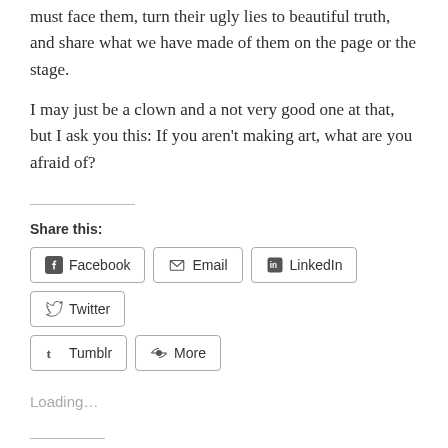must face them, turn their ugly lies to beautiful truth, and share what we have made of them on the page or the stage.
I may just be a clown and a not very good one at that, but I ask you this: If you aren't making art, what are you afraid of?
Share this:
Facebook  Email  LinkedIn  Twitter  Tumblr  More
Loading...